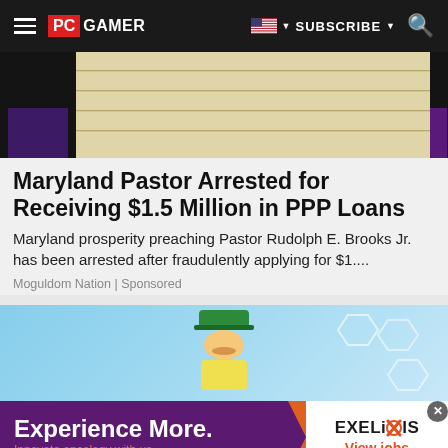PC GAMER | SUBSCRIBE
[Figure (photo): Partial view of a room with garage-door style panels, dark side panels with purple accents]
Maryland Pastor Arrested for Receiving $1.5 Million in PPP Loans
Maryland prosperity preaching Pastor Rudolph E. Brooks Jr. has been arrested after fraudulently applying for $1....
Moguldom Nation | Sponsored
[Figure (illustration): Cartoon character wearing green hat running or floating against blue sky with hexagonal molecule shapes]
[Figure (other): Advertisement banner: Experience More. Innovate oncology with us. EXELIXIS View jobs]